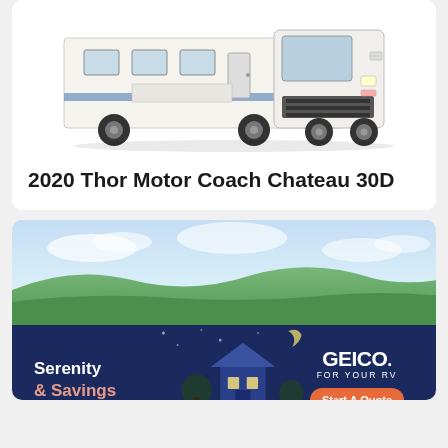[Figure (photo): Photo of a white 2020 Thor Motor Coach Chateau 30D recreational vehicle on white background]
2020 Thor Motor Coach Chateau 30D
[Figure (photo): Outdoor landscape photo with green fields and sky, overlaid with a GEICO RV insurance advertisement banner reading 'Serenity & Savings' with GEICO logo and 'Start A Quote' button]